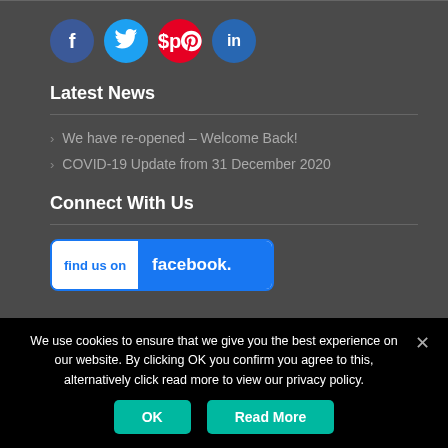[Figure (illustration): Row of four social media icons: Facebook (dark blue circle with 'f'), Twitter (light blue circle with bird icon), Pinterest (red circle with 'p'), LinkedIn (blue circle with 'in')]
Latest News
We have re-opened – Welcome Back!
COVID-19 Update from 31 December 2020
Connect With Us
[Figure (logo): Find us on Facebook badge — white left panel with blue text 'find us on', blue right panel with white bold text 'facebook.']
We use cookies to ensure that we give you the best experience on our website. By clicking OK you confirm you agree to this, alternatively click read more to view our privacy policy.
OK    Read More